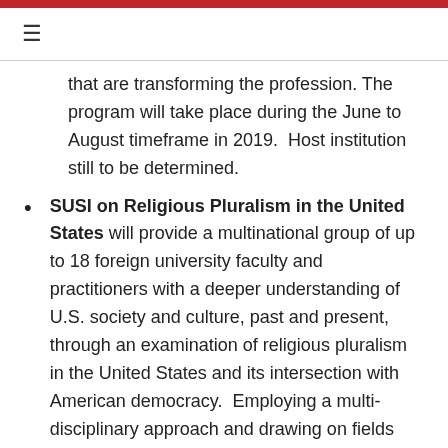≡
that are transforming the profession. The program will take place during the June to August timeframe in 2019.  Host institution still to be determined.
SUSI on Religious Pluralism in the United States will provide a multinational group of up to 18 foreign university faculty and practitioners with a deeper understanding of U.S. society and culture, past and present, through an examination of religious pluralism in the United States and its intersection with American democracy.  Employing a multi-disciplinary approach and drawing on fields such as history, political science, anthropology and sociology, law, and others, the program will explore both the historical and contemporary relationship between religion and state in the United States. Participants